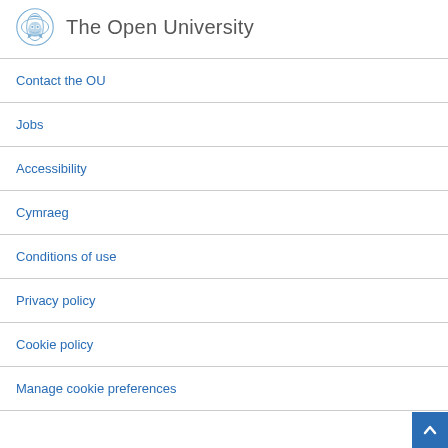The Open University
Contact the OU
Jobs
Accessibility
Cymraeg
Conditions of use
Privacy policy
Cookie policy
Manage cookie preferences